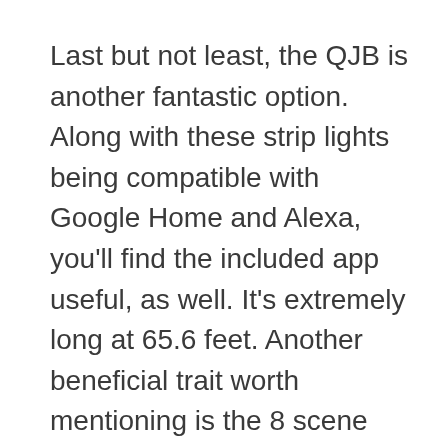Last but not least, the QJB is another fantastic option. Along with these strip lights being compatible with Google Home and Alexa, you'll find the included app useful, as well. It's extremely long at 65.6 feet. Another beneficial trait worth mentioning is the 8 scene modes. However, these lights aren't the brightest on the list.